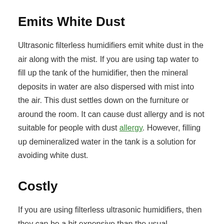Emits White Dust
Ultrasonic filterless humidifiers emit white dust in the air along with the mist. If you are using tap water to fill up the tank of the humidifier, then the mineral deposits in water are also dispersed with mist into the air. This dust settles down on the furniture or around the room. It can cause dust allergy and is not suitable for people with dust allergy. However, filling up demineralized water in the tank is a solution for avoiding white dust.
Costly
If you are using filterless ultrasonic humidifiers, then they can be a bit expensive than the usual